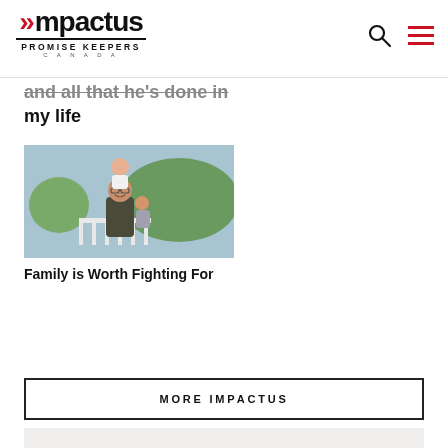Impactus Promise Keepers Canada
and all that he's done in my life
[Figure (photo): A father with two young children on his shoulders and back, smiling outdoors with greenery in the background.]
Family is Worth Fighting For
MORE IMPACTUS